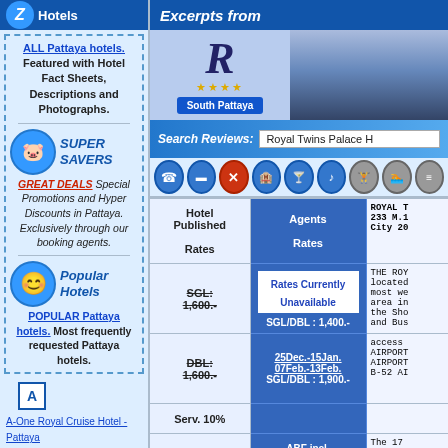Excerpts from
[Figure (logo): Z Hotels logo with blue circle]
ALL Pattaya hotels.
Featured with Hotel Fact Sheets, Descriptions and Photographs.
[Figure (illustration): Super Savers piggy bank icon in blue circle]
SUPER SAVERS
GREAT DEALS Special Promotions and Hyper Discounts in Pattaya. Exclusively through our booking agents.
[Figure (illustration): Popular Hotels smiley face icon in blue circle]
Popular Hotels
POPULAR Pattaya hotels. Most frequently requested Pattaya hotels.
A-One Royal Cruise Hotel - Pattaya
Adriatic Palace Hotel - Pattaya
Aisawan Resort & Spa - Pattaya
[Figure (photo): Royal Twins Palace Hotel exterior photo and R logo]
South Pattaya
Search Reviews: Royal Twins Palace H
| Hotel Published Rates | Agents Rates | Description |
| --- | --- | --- |
| SGL: 1,600.- | Rates Currently Unavailable / SGL/DBL : 1,400.- | ROYAL T 233 M.1 City 20 |
| DBL: 1,600.- | 25Dec.-15Jan. 07Feb.-13Feb. SGL/DBL : 1,900.- | THE ROY located most we area in the Sho and Bus access AIRPORT AIRPORT B-52 AI |
| Serv. 10% |  |  |
| VAT 7% | ABF incl. Serv&VAT incl. | The 17 |